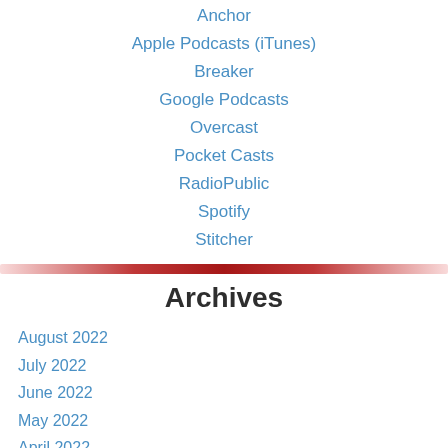Anchor
Apple Podcasts (iTunes)
Breaker
Google Podcasts
Overcast
Pocket Casts
RadioPublic
Spotify
Stitcher
Archives
August 2022
July 2022
June 2022
May 2022
April 2022
March 2022
February 2022
January 2022